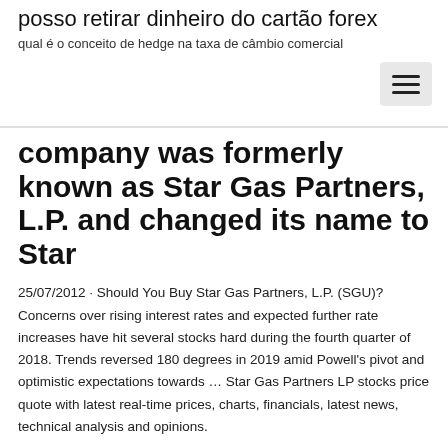posso retirar dinheiro do cartão forex
qual é o conceito de hedge na taxa de câmbio comercial
company was formerly known as Star Gas Partners, L.P. and changed its name to Star
25/07/2012 · Should You Buy Star Gas Partners, L.P. (SGU)? Concerns over rising interest rates and expected further rate increases have hit several stocks hard during the fourth quarter of 2018. Trends reversed 180 degrees in 2019 amid Powell's pivot and optimistic expectations towards … Star Gas Partners LP stocks price quote with latest real-time prices, charts, financials, latest news, technical analysis and opinions.
Samotný úvod tohoto týdne bude na Wall Street, díky